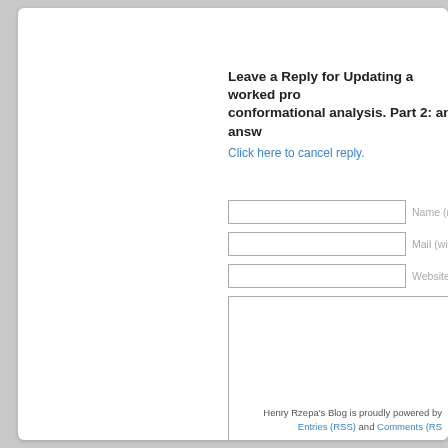Leave a Reply for Updating a worked problem in conformational analysis. Part 2: an answ
Click here to cancel reply.
Name (required)
Mail (will not be published)
Website
Henry Rzepa's Blog is proudly powered by Entries (RSS) and Comments (RSS)